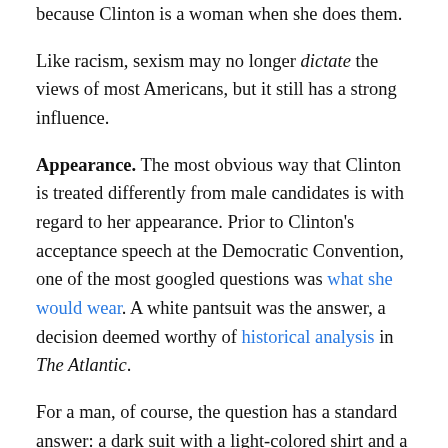because Clinton is a woman when she does them.
Like racism, sexism may no longer dictate the views of most Americans, but it still has a strong influence.
Appearance. The most obvious way that Clinton is treated differently from male candidates is with regard to her appearance. Prior to Clinton's acceptance speech at the Democratic Convention, one of the most googled questions was what she would wear. A white pantsuit was the answer, a decision deemed worthy of historical analysis in The Atlantic.
For a man, of course, the question has a standard answer: a dark suit with a light-colored shirt and a red or blue tie. If a man wears that, he can count on everybody to forget what he's wearing and concentrate on what he's saying. But there is no standard choice for women, because no